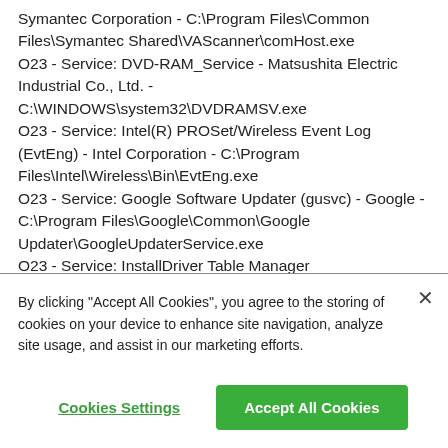Symantec Corporation - C:\Program Files\Common Files\Symantec Shared\VAScanner\comHost.exe O23 - Service: DVD-RAM_Service - Matsushita Electric Industrial Co., Ltd. - C:\WINDOWS\system32\DVDRAMSV.exe O23 - Service: Intel(R) PROSet/Wireless Event Log (EvtEng) - Intel Corporation - C:\Program Files\Intel\Wireless\Bin\EvtEng.exe O23 - Service: Google Software Updater (gusvc) - Google - C:\Program Files\Google\Common\Google Updater\GoogleUpdaterService.exe O23 - Service: InstallDriver Table Manager
By clicking "Accept All Cookies", you agree to the storing of cookies on your device to enhance site navigation, analyze site usage, and assist in our marketing efforts.
Cookies Settings
Accept All Cookies